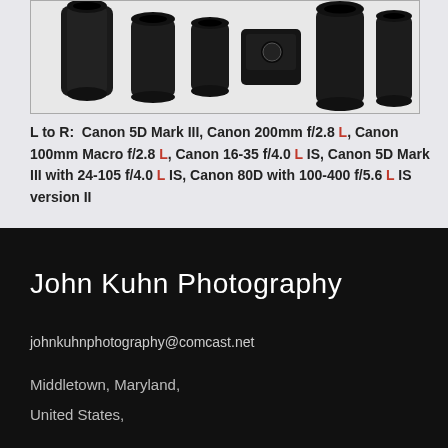[Figure (photo): Photo of multiple Canon camera lenses laid on white fur background. Shows Canon 5D Mark III body and several L-series lenses.]
L to R:  Canon 5D Mark III, Canon 200mm f/2.8 L, Canon 100mm Macro f/2.8 L, Canon 16-35 f/4.0 L IS, Canon 5D Mark III with 24-105 f/4.0 L IS, Canon 80D with 100-400 f/5.6 L IS version II
John Kuhn Photography
johnkuhnphotography@comcast.net
Middletown, Maryland,
United States,